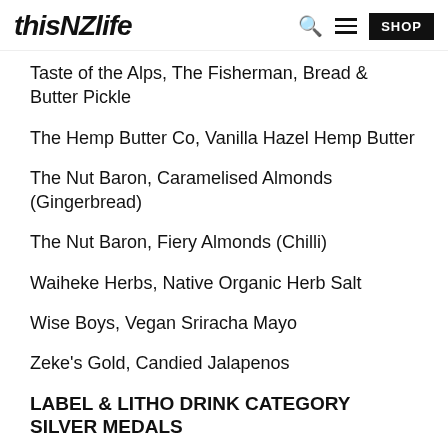thisNZlife
Taste of the Alps, The Fisherman, Bread & Butter Pickle
The Hemp Butter Co, Vanilla Hazel Hemp Butter
The Nut Baron, Caramelised Almonds (Gingerbread)
The Nut Baron, Fiery Almonds (Chilli)
Waiheke Herbs, Native Organic Herb Salt
Wise Boys, Vegan Sriracha Mayo
Zeke's Gold, Candied Jalapenos
LABEL & LITHO DRINK CATEGORY SILVER MEDALS